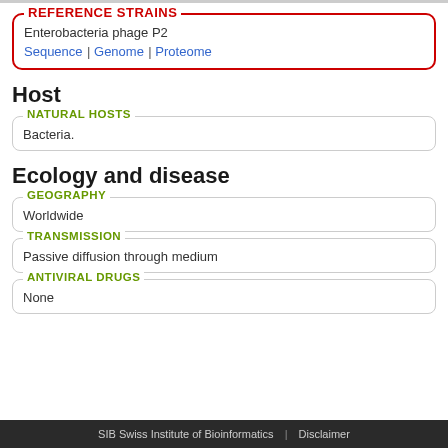REFERENCE STRAINS
Enterobacteria phage P2
Sequence | Genome | Proteome
Host
NATURAL HOSTS
Bacteria.
Ecology and disease
GEOGRAPHY
Worldwide
TRANSMISSION
Passive diffusion through medium
ANTIVIRAL DRUGS
None
SIB Swiss Institute of Bioinformatics | Disclaimer